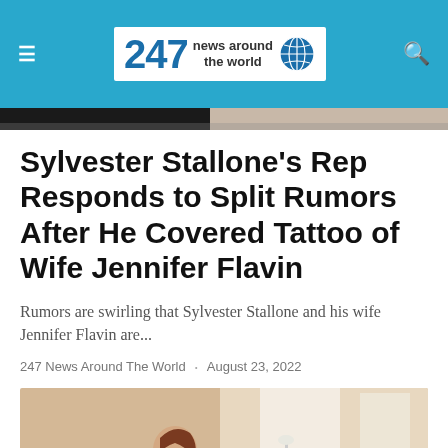247 news around the world
Sylvester Stallone's Rep Responds to Split Rumors After He Covered Tattoo of Wife Jennifer Flavin
Rumors are swirling that Sylvester Stallone and his wife Jennifer Flavin are...
247 News Around The World · August 23, 2022
[Figure (photo): Woman sitting relaxed indoors, bright window in background]